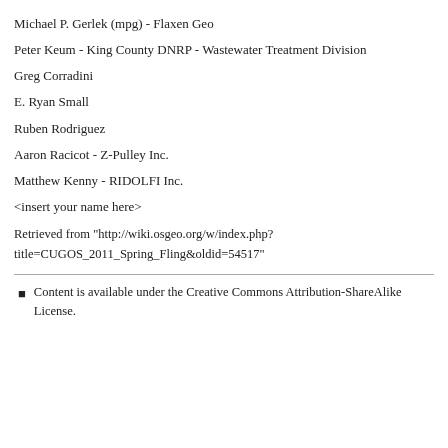Michael P. Gerlek (mpg) - Flaxen Geo
Peter Keum - King County DNRP - Wastewater Treatment Division
Greg Corradini
E. Ryan Small
Ruben Rodriguez
Aaron Racicot - Z-Pulley Inc.
Matthew Kenny - RIDOLFI Inc.
<insert your name here>
Retrieved from "http://wiki.osgeo.org/w/index.php?title=CUGOS_2011_Spring_Fling&oldid=54517"
Content is available under the Creative Commons Attribution-ShareAlike License.